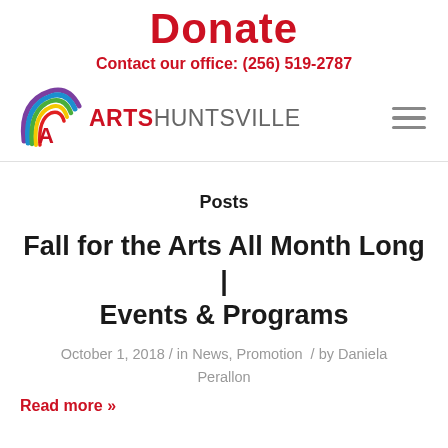Donate
Contact our office: (256) 519-2787
[Figure (logo): Arts Huntsville logo with colorful arc/rainbow graphic and text ARTSHUNTSVILLE]
Posts
Fall for the Arts All Month Long | Events & Programs
October 1, 2018 / in News, Promotion / by Daniela Perallon
Read more »